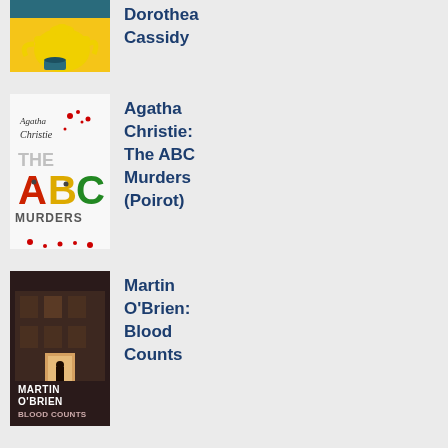[Figure (illustration): Book cover for Dorothea Cassidy - yellow/teal design with teapot and cup]
Dorothea Cassidy
[Figure (illustration): Book cover for Agatha Christie: The ABC Murders (Poirot) - white background with large colorful ABC letters and red droplets]
Agatha Christie: The ABC Murders (Poirot)
[Figure (illustration): Book cover for Martin O'Brien: Blood Counts - dark moody street scene with silhouette]
Martin O'Brien: Blood Counts
[Figure (illustration): Book cover for Martin O'brien: Jacquot and the Waterman - dark warm toned architectural scene]
Martin O'brien: Jacquot